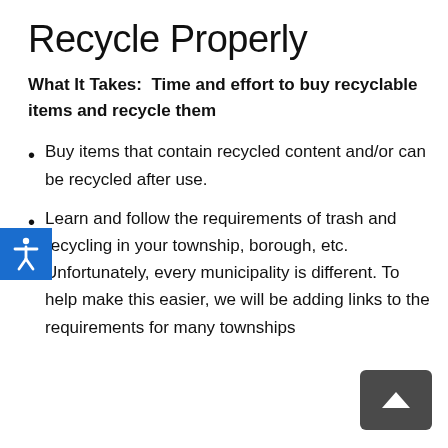Recycle Properly
What It Takes:  Time and effort to buy recyclable items and recycle them
Buy items that contain recycled content and/or can be recycled after use.
Learn and follow the requirements of trash and recycling in your township, borough, etc. Unfortunately, every municipality is different. To help make this easier, we will be adding links to the requirements for many townships